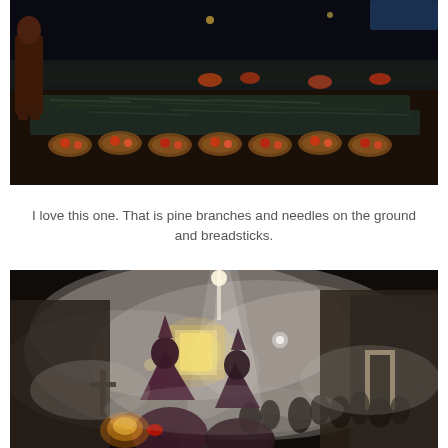[Figure (photo): Nighttime street scene showing an elaborate ground decoration made of pine branches, pine needles, and breadsticks arranged in decorative patterns on a cobblestone street. A person is visible walking on the left side.]
I love this one. That is pine branches and needles on the ground and breadsticks.
[Figure (photo): Nighttime procession scene with heavy smoke/incense fog filling a street. Figures in purple hooded robes carrying a cross are visible in the foreground. A glowing religious float or altar is visible in the background. Buildings line both sides of the street with onlookers.]